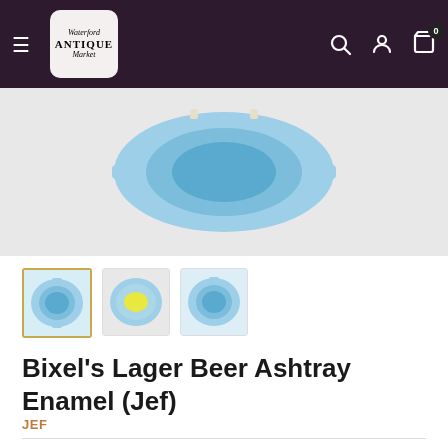Waterford Antique Market - navigation header
[Figure (photo): Product photo of a blue enamel ashtray (Bixel's Lager Beer) shown from above on a light grey background]
[Figure (photo): Thumbnail 1: front view of blue enamel ashtray - currently selected (gold border)]
[Figure (photo): Thumbnail 2: bottom/back view of blue enamel ashtray with yellow price sticker]
[Figure (photo): Thumbnail 3: another view of the blue enamel ashtray]
Bixel's Lager Beer Ashtray Enamel (Jef)
JEF